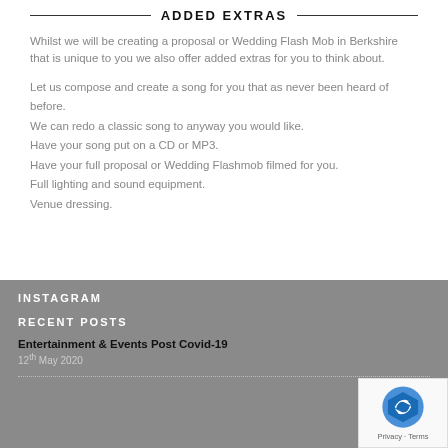ADDED EXTRAS
Whilst we will be creating a proposal or Wedding Flash Mob in Berkshire that is unique to you we also offer added extras for you to think about.
Let us compose and create a song for you that as never been heard of before.
We can redo a classic song to anyway you would like.
Have your song put on a CD or MP3.
Have your full proposal or Wedding Flashmob filmed for you.
Full lighting and sound equipment.
Venue dressing.
INSTAGRAM
RECENT POSTS
Entertainment & Events Post Covid-19
12th May 2020